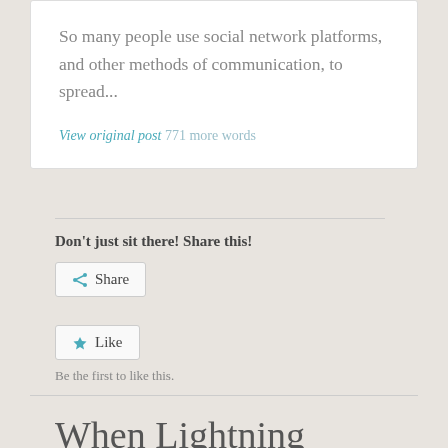So many people use social network platforms, and other methods of communication, to spread...
View original post 771 more words
Don't just sit there! Share this!
Share
Like
Be the first to like this.
When Lightning Strikes